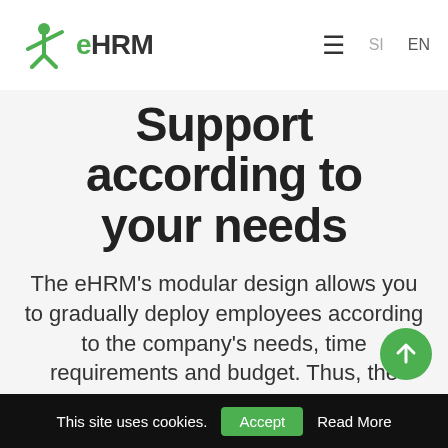eHRM — navigation bar with logo, hamburger menu, SI, EN language options
Support according to your needs
The eHRM's modular design allows you to gradually deploy employees according to the company's needs, time requirements and budget. Thus, the software is suitable for companies that want to support basic personnel processes, as well as organizations that want to digiti… strategic personnel processes
This site uses cookies. Accept Read More